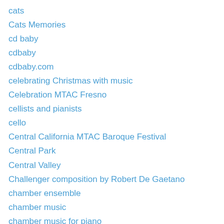cats
Cats Memories
cd baby
cdbaby
cdbaby.com
celebrating Christmas with music
Celebration MTAC Fresno
cellists and pianists
cello
Central California MTAC Baroque Festival
Central Park
Central Valley
Challenger composition by Robert De Gaetano
chamber ensemble
chamber music
chamber music for piano
Chamber Orchestra of Europe
Chanukah
Chapman University
Charles Alkan